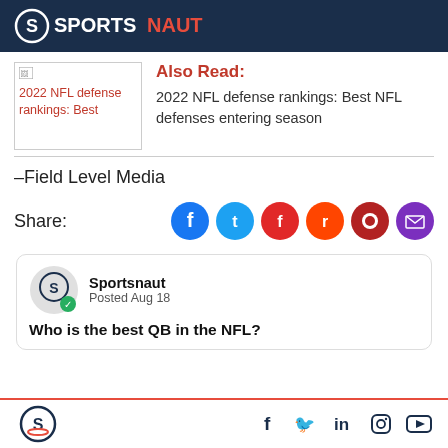SPORTSNAUT
[Figure (logo): Sportsnaut logo with stylized S icon and text SPORTS in white, NAUT in red/orange on dark navy background]
2022 NFL defense rankings: Best
Also Read: 2022 NFL defense rankings: Best NFL defenses entering season
–Field Level Media
Share:
[Figure (infographic): Social share icons: Facebook (dark blue), Twitter (light blue), Flipboard (red), Reddit (orange-red), another circle (dark red), Email (purple)]
[Figure (infographic): Sportsnaut comment card with avatar, Posted Aug 18, question: Who is the best QB in the NFL?]
Sportsnaut logo and social media icons: Facebook, Twitter, LinkedIn, Instagram, YouTube